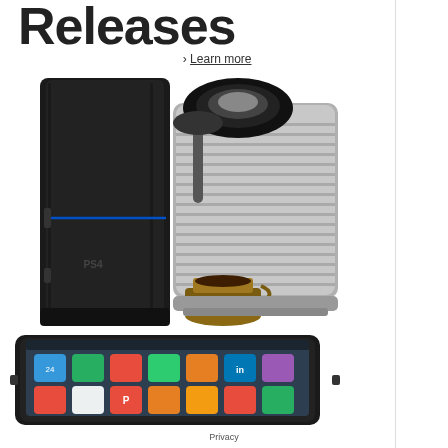Releases
› Learn more
[Figure (photo): PS4 gaming console (black, vertical) and a Nespresso Pixie espresso machine (silver/black) with a coffee cup]
[Figure (photo): Amazon Kindle Fire HDX tablet showing app grid interface with various apps including LinkedIn, Pinterest, iHeartRadio]
Privacy